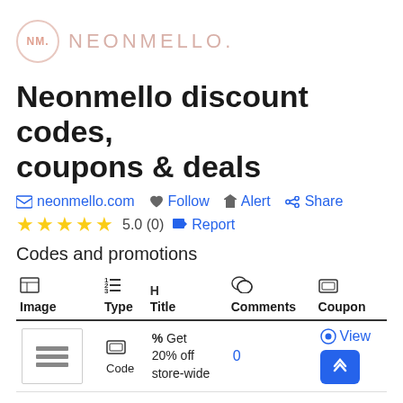[Figure (logo): Neonmello logo: circle with NM initials and text NEONMELLO.]
Neonmello discount codes, coupons & deals
neonmello.com  Follow  Alert  Share
★★★★★ 5.0 (0)  Report
Codes and promotions
| Image | Type | Title | Comments | Coupon |
| --- | --- | --- | --- | --- |
| [thumbnail] | Code | % Get 20% off store-wide | 0 | View |